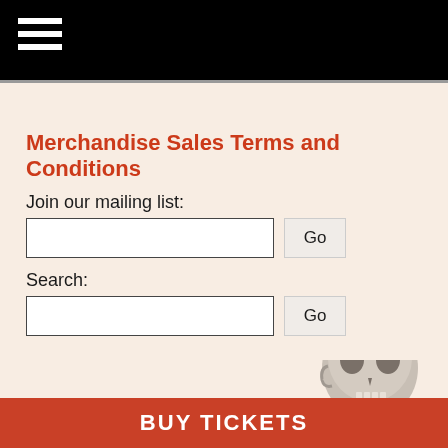[Figure (other): Black navigation header bar with hamburger menu icon (three white horizontal lines) on the left]
Merchandise Sales Terms and Conditions
Join our mailing list:
Search:
[Figure (illustration): Partial illustration of a skull/skeleton figure in the lower right area of the content section]
BUY TICKETS